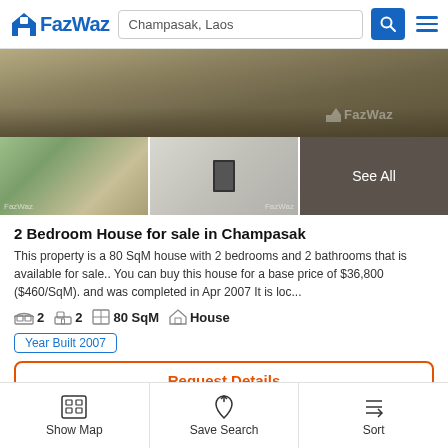FazWaz — Champasak, Laos
[Figure (photo): Main property photo showing outdoor dirt/gravel area with watermark FazWaz logo]
[Figure (photo): Three thumbnail photos: house exterior, interior room with door, and See All overlay]
2 Bedroom House for sale in Champasak
This property is a 80 SqM house with 2 bedrooms and 2 bathrooms that is available for sale.. You can buy this house for a base price of $36,800 ($460/SqM). and was completed in Apr 2007 It is loc...
2 bedrooms  2 bathrooms  80 SqM  House
Year Built 2007
Request Details
Hou
$552,000 ($2,208/SqM)
Show Map  Save Search  Sort